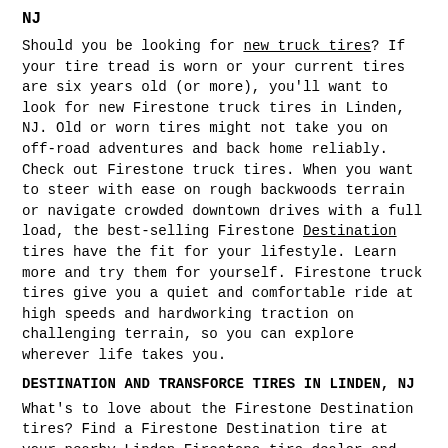NJ
Should you be looking for new truck tires? If your tire tread is worn or your current tires are six years old (or more), you'll want to look for new Firestone truck tires in Linden, NJ. Old or worn tires might not take you on off-road adventures and back home reliably. Check out Firestone truck tires. When you want to steer with ease on rough backwoods terrain or navigate crowded downtown drives with a full load, the best-selling Firestone Destination tires have the fit for your lifestyle. Learn more and try them for yourself. Firestone truck tires give you a quiet and comfortable ride at high speeds and hardworking traction on challenging terrain, so you can explore wherever life takes you.
DESTINATION AND TRANSFORCE TIRES IN LINDEN, NJ
What's to love about the Firestone Destination tires? Find a Firestone Destination tire at your nearby Linden Firestone tire dealer and find out. Firestone Destination tires are engineered to move you onward — wherever that might be.